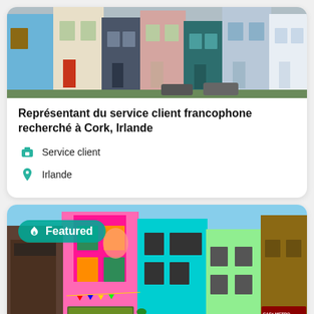[Figure (photo): Colorful terraced houses in Cork, Ireland, with blue, cream, pink, grey and white facades]
Représentant du service client francophone recherché à Cork, Irlande
Service client
Irlande
[Figure (photo): Vibrant colorful street scene in Dublin/Cork Ireland with Jam Art Factory store, murals, and bright teal/pink shopfronts. Featured badge overlay.]